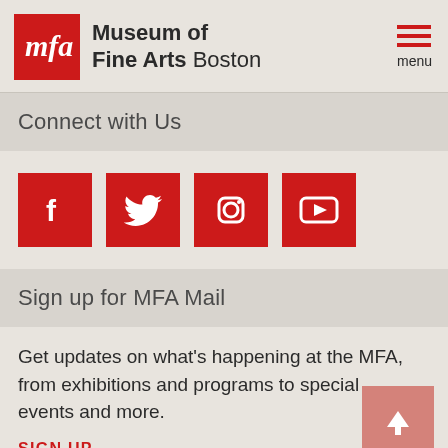[Figure (logo): Museum of Fine Arts Boston logo with red MFA box and text]
Connect with Us
[Figure (infographic): Social media icons: Facebook, Twitter, Instagram, YouTube — white icons on red square backgrounds]
Sign up for MFA Mail
Get updates on what's happening at the MFA, from exhibitions and programs to special events and more.
SIGN UP